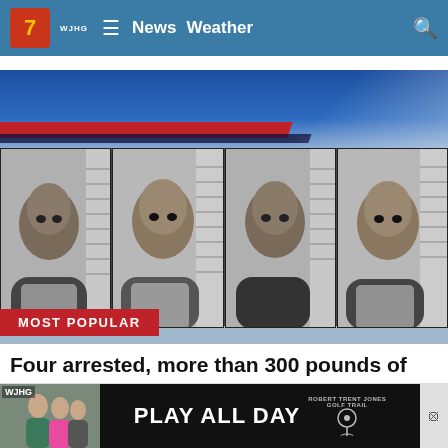WJHG 7 News Weather
[Figure (photo): Four mugshot photos of arrested individuals in a row, with a WJHG news banner background featuring blue and red stripes]
MOST POPULAR
Four arrested, more than 300 pounds of marijuana seized in Bay County
[Figure (photo): Advertisement bar: WJHG thumbnail on left, black background ad reading PLAY ALL DAY with Robert Trent Jones Golf Trail logo]